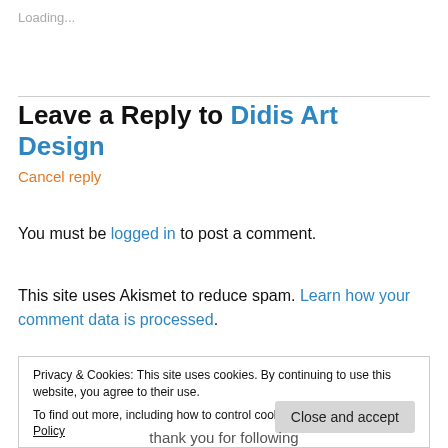Loading...
Leave a Reply to Didis Art Design
Cancel reply
You must be logged in to post a comment.
This site uses Akismet to reduce spam. Learn how your comment data is processed.
Privacy & Cookies: This site uses cookies. By continuing to use this website, you agree to their use.
To find out more, including how to control cookies, see here: Cookie Policy
Close and accept
thank you for following